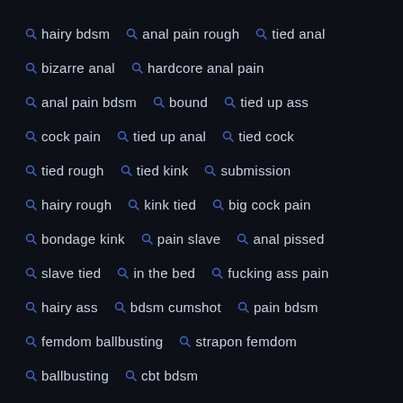hairy bdsm
anal pain rough
tied anal
bizarre anal
hardcore anal pain
anal pain bdsm
bound
tied up ass
cock pain
tied up anal
tied cock
tied rough
tied kink
submission
hairy rough
kink tied
big cock pain
bondage kink
pain slave
anal pissed
slave tied
in the bed
fucking ass pain
hairy ass
bdsm cumshot
pain bdsm
femdom ballbusting
strapon femdom
ballbusting
cbt bdsm